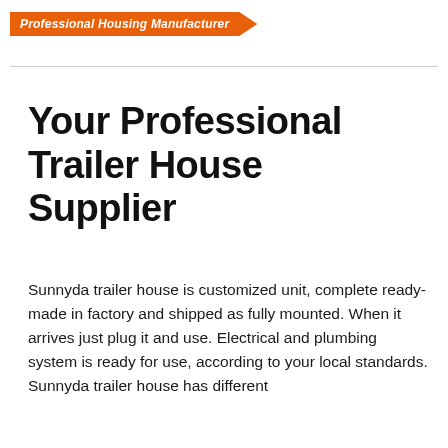Professional Housing Manufacturer
Your Professional Trailer House Supplier
Sunnyda trailer house is customized unit, complete ready-made in factory and shipped as fully mounted. When it arrives just plug it and use. Electrical and plumbing system is ready for use, according to your local standards. Sunnyda trailer house has different